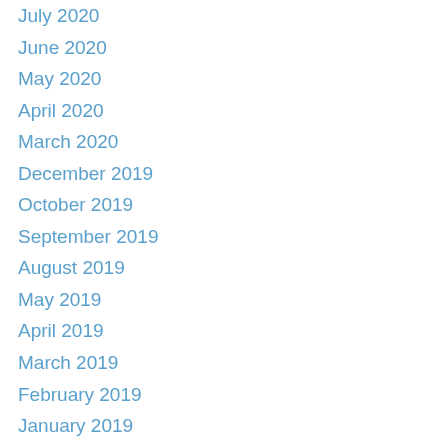July 2020
June 2020
May 2020
April 2020
March 2020
December 2019
October 2019
September 2019
August 2019
May 2019
April 2019
March 2019
February 2019
January 2019
December 2018
November 2018
October 2018
September 2018
August 2018
July 2018